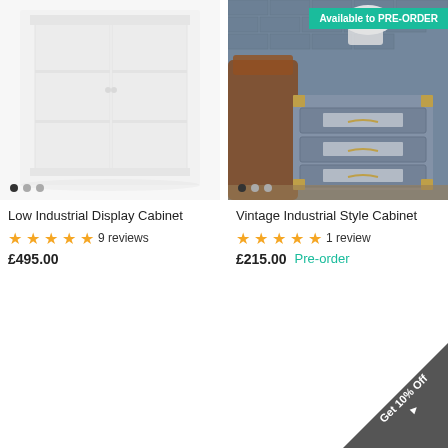[Figure (photo): Low Industrial Display Cabinet product photo - white/light grey display cabinet with glass doors on white background]
[Figure (photo): Vintage Industrial Style Cabinet product photo - grey/blue drawer cabinet with brass handles against a brick wall background, with 'Available to PRE-ORDER' badge]
Low Industrial Display Cabinet
★★★★★ 9 reviews
£495.00
Vintage Industrial Style Cabinet
★★★★★ 1 review
£215.00  Pre-order
Get 10% Off ►